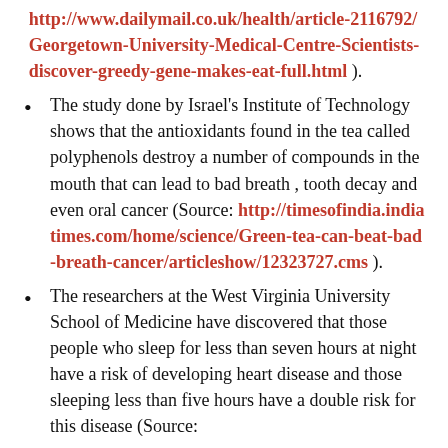http://www.dailymail.co.uk/health/article-2116792/Georgetown-University-Medical-Centre-Scientists-discover-greedy-gene-makes-eat-full.html ).
The study done by Israel's Institute of Technology shows that the antioxidants found in the tea called polyphenols destroy a number of compounds in the mouth that can lead to bad breath , tooth decay and even oral cancer (Source: http://timesofindia.indiatimes.com/home/science/Green-tea-can-beat-bad-breath-cancer/articleshow/12323727.cms ).
The researchers at the West Virginia University School of Medicine have discovered that those people who sleep for less than seven hours at night have a risk of developing heart disease and those sleeping less than five hours have a double risk for this disease (Source: